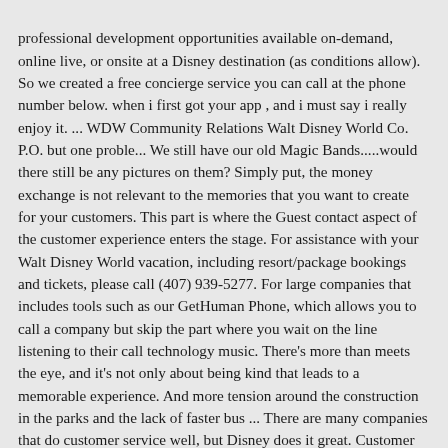professional development opportunities available on-demand, online live, or onsite at a Disney destination (as conditions allow). So we created a free concierge service you can call at the phone number below. when i first got your app , and i must say i really enjoy it. ... WDW Community Relations Walt Disney World Co. P.O. but one proble... We still have our old Magic Bands.....would there still be any pictures on them? Simply put, the money exchange is not relevant to the memories that you want to create for your customers. This part is where the Guest contact aspect of the customer experience enters the stage. For assistance with your Walt Disney World vacation, including resort/package bookings and tickets, please call (407) 939-5277. For large companies that includes tools such as our GetHuman Phone, which allows you to call a company but skip the part where you wait on the line listening to their call technology music. There's more than meets the eye, and it's not only about being kind that leads to a memorable experience. And more tension around the construction in the parks and the lack of faster bus ... There are many companies that do customer service well, but Disney does it great. Customer service insights, organized by theme. That's how you always create positive memories. For assistance with your Walt Disney World visit, call 00 800 2006 0809* (freephone) or 00 44 203 666 9911** (charges apply). Grab some ink and let's transform your team's customer service